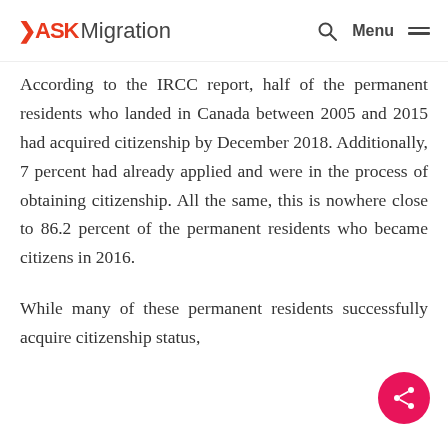ASKMigration — Menu
According to the IRCC report, half of the permanent residents who landed in Canada between 2005 and 2015 had acquired citizenship by December 2018. Additionally, 7 percent had already applied and were in the process of obtaining citizenship. All the same, this is nowhere close to 86.2 percent of the permanent residents who became citizens in 2016.
While many of these permanent residents successfully acquire citizenship status,